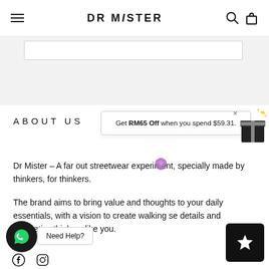DR MISTER
[Figure (screenshot): Gray area with white inner box — top section of webpage]
ABOUT US
[Figure (infographic): Promotional popup: Get RM65 Off when you spend $59.31, with gift icon]
Dr Mister - A far out streetwear experiment, specially made by thinkers, for thinkers.
The brand aims to bring value and thoughts to your daily essentials, with a vision to create walking se details and aesthetics thinkers like you.
[Figure (other): WhatsApp chat button (dark circle with phone icon), Need Help? button, and star/favorite button]
[Figure (other): Social media icons row: Facebook and Instagram icons at bottom]